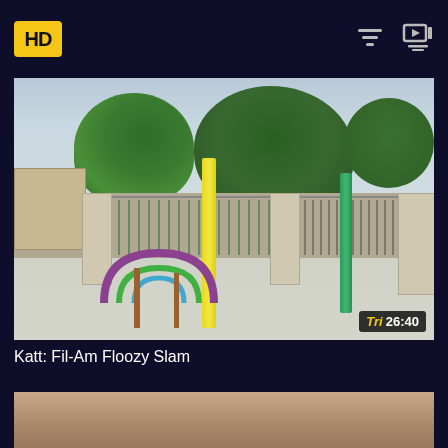HD
[Figure (screenshot): Video thumbnail showing a public park playground with colorful poles, trees, and a fence. Duration badge shows 'Tri 26:40' in bottom right corner.]
Katt: Fil-Am Floozy Slam
[Figure (photo): Partial view of a second video thumbnail, close-up image, cropped at bottom of page.]